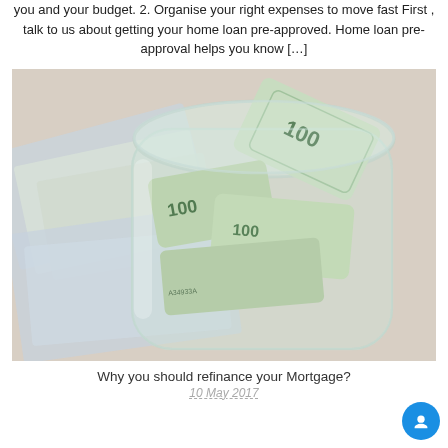you and your budget. 2. Organise your right expenses to move fast First , talk to us about getting your home loan pre-approved. Home loan pre-approval helps you know […]
[Figure (photo): Top-down photo of a glass jar filled with rolled US $100 dollar bills, with more cash bills spread around it on a light surface.]
Why you should refinance your Mortgage?
10 May 2017